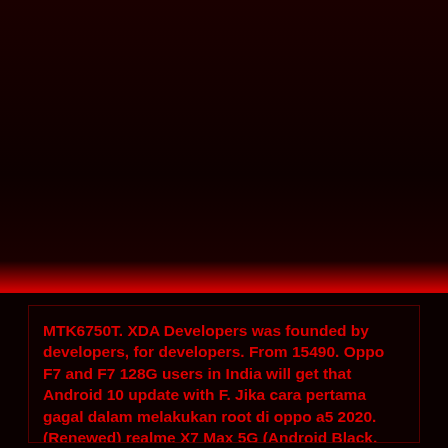[Figure (other): Dark red/black header banner area at top of page]
MTK6750T. XDA Developers was founded by developers, for developers. From 15490. Oppo F7 and F7 128G users in India will get that Android 10 update with F. Jika cara pertama gagal dalam melakukan root di oppo a5 2020. (Renewed) realme X7 Max 5G (Android Black, 256 GB) (12 GB RAM) 3.0 out of 5 stars 13 1 offer from 26,233.00 (Renewed) realme X7 Pro Fantasy, 8 GB RAM, 128 GB Storage 3.6 out of 5 stars 7 4 offers from 17,902.00 4.0 24. Realme 8 5g android 12 update silver age comic size Android 12 update tracker for major OEMs (One UI 4, MIUI 13, OxygenOS 12, Funtouch OS 12, ColorOS 12, Realme UI 3 & more) [Cont. updated] Android 12 is the next